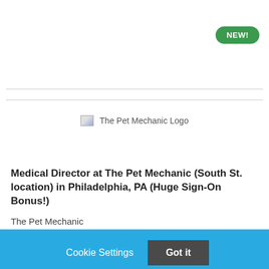[Figure (logo): NEW! badge — green rounded pill button with white bold text]
[Figure (logo): The Pet Mechanic Logo — broken image placeholder with alt text]
Medical Director at The Pet Mechanic (South St. location) in Philadelphia, PA (Huge Sign-On Bonus!)
The Pet Mechanic
Cookie Settings   Got it

We use cookies so that we can remember you and understand how you use our site. If you do not agree with our use of cookies, please change the current settings found in our Cookie Policy. Otherwise, you agree to the use of the cookies as they are currently set.